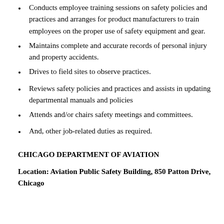Conducts employee training sessions on safety policies and practices and arranges for product manufacturers to train employees on the proper use of safety equipment and gear.
Maintains complete and accurate records of personal injury and property accidents.
Drives to field sites to observe practices.
Reviews safety policies and practices and assists in updating departmental manuals and policies
Attends and/or chairs safety meetings and committees.
And, other job-related duties as required.
CHICAGO DEPARTMENT OF AVIATION
Location: Aviation Public Safety Building, 850 Patton Drive, Chicago